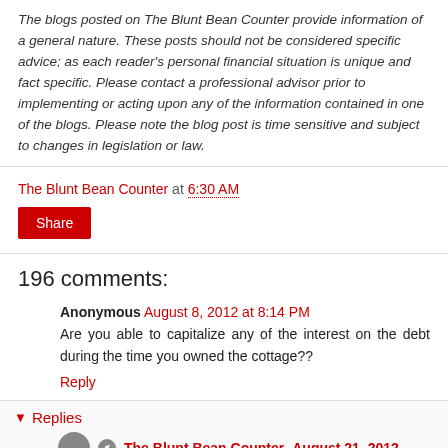The blogs posted on The Blunt Bean Counter provide information of a general nature. These posts should not be considered specific advice; as each reader's personal financial situation is unique and fact specific. Please contact a professional advisor prior to implementing or acting upon any of the information contained in one of the blogs. Please note the blog post is time sensitive and subject to changes in legislation or law.
The Blunt Bean Counter at 6:30 AM
Share
196 comments:
Anonymous August 8, 2012 at 8:14 PM
Are you able to capitalize any of the interest on the debt during the time you owned the cottage??
Reply
Replies
The Blunt Bean Counter August 21, 2012